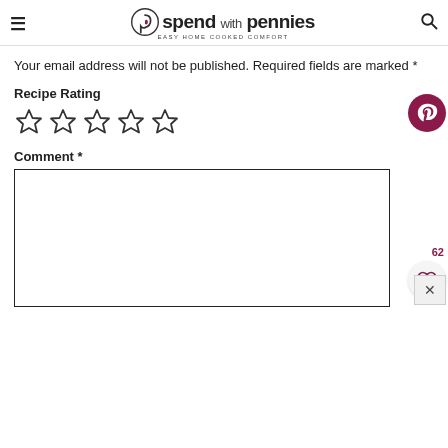spend with pennies — EASY HOME COOKED COMFORT
Your email address will not be published. Required fields are marked *
Recipe Rating
[Figure (other): Five empty star rating icons for recipe rating]
Comment *
[Figure (other): Pinterest share button (dark red circle with P icon)]
62
[Figure (other): Heart/save button (white circle with heart icon)]
[Figure (other): Close/dismiss button (X icon)]